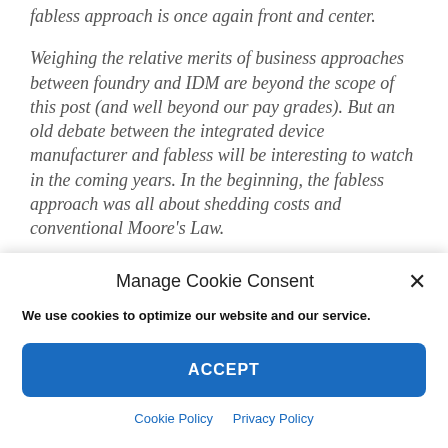fabless approach is once again front and center.
Weighing the relative merits of business approaches between foundry and IDM are beyond the scope of this post (and well beyond our pay grades). But an old debate between the integrated device manufacturer and fabless will be interesting to watch in the coming years. In the beginning, the fabless approach was all about shedding costs and conventional Moore's Law. Now with high-performance computing depending
Manage Cookie Consent
We use cookies to optimize our website and our service.
ACCEPT
Cookie Policy   Privacy Policy